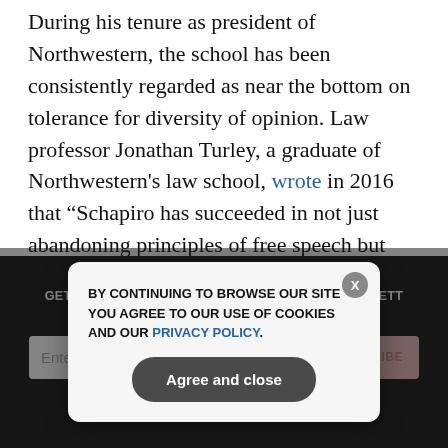During his tenure as president of Northwestern, the school has been consistently regarded as near the bottom on tolerance for diversity of opinion. Law professor Jonathan Turley, a graduate of Northwestern's law school, wrote in 2016 that “Schapiro has succeeded in not just abandoning principles of free speech but directly assaulting core values of academic freedom. The chilling effect of his words will be most felt by untenured faculty who may think twice about advocating views that Schapiro has not defined as lunacy and idiocy.”
[Figure (screenshot): Dark newsletter signup section with email input field and SUBSCRIBE button, overlaid by a cookie consent modal reading 'BY CONTINUING TO BROWSE OUR SITE YOU AGREE TO OUR USE OF COOKIES AND OUR PRIVACY POLICY.' with an 'Agree and close' button and an X close button.]